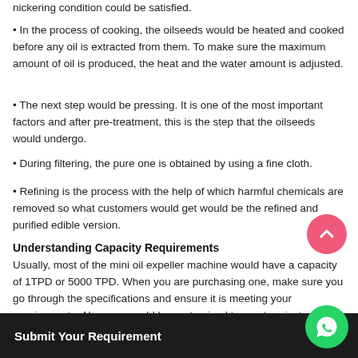nickering condition could be satisfied.
• In the process of cooking, the oilseeds would be heated and cooked before any oil is extracted from them. To make sure the maximum amount of oil is produced, the heat and the water amount is adjusted.
• The next step would be pressing. It is one of the most important factors and after pre-treatment, this is the step that the oilseeds would undergo.
• During filtering, the pure one is obtained by using a fine cloth.
• Refining is the process with the help of which harmful chemicals are removed so what customers would get would be the refined and purified edible version.
Understanding Capacity Requirements
Usually, most of the mini oil expeller machine would have a capacity of 1TPD or 5000 TPD. When you are purchasing one, make sure you go through the specifications and ensure it is meeting your requirements. Also, one could be customized to meet project needs. Like coconut shells and also peanut shells should be removed before pressing. Ask your supplier further.
Submit Your Requirement